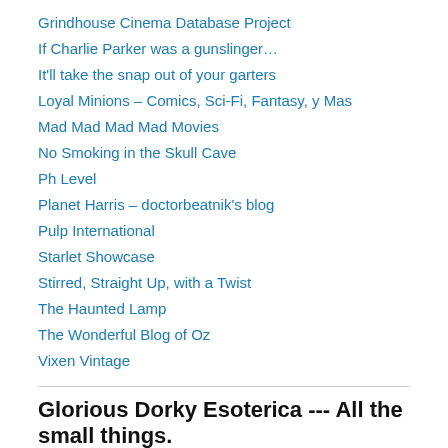Grindhouse Cinema Database Project
If Charlie Parker was a gunslinger…
It'll take the snap out of your garters
Loyal Minions – Comics, Sci-Fi, Fantasy, y Mas
Mad Mad Mad Mad Movies
No Smoking in the Skull Cave
Ph Level
Planet Harris – doctorbeatnik's blog
Pulp International
Starlet Showcase
Stirred, Straight Up, with a Twist
The Haunted Lamp
The Wonderful Blog of Oz
Vixen Vintage
Glorious Dorky Esoterica --- All the small things.
Al Capone on the Uncylopedia
Arboles muertos y mucha tinta